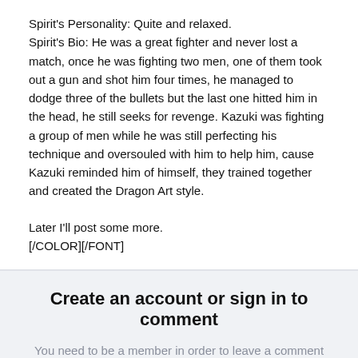Spirit's Personality: Quite and relaxed.
Spirit's Bio: He was a great fighter and never lost a match, once he was fighting two men, one of them took out a gun and shot him four times, he managed to dodge three of the bullets but the last one hitted him in the head, he still seeks for revenge. Kazuki was fighting a group of men while he was still perfecting his technique and oversouled with him to help him, cause Kazuki reminded him of himself, they trained together and created the Dragon Art style.
Later I'll post some more.
[/COLOR][/FONT]
Create an account or sign in to comment
You need to be a member in order to leave a comment
Create an account
Sign up for a new account in our community. It's easy!